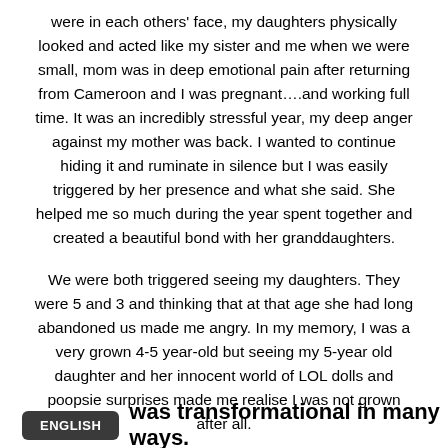were in each others' face, my daughters physically looked and acted like my sister and me when we were small, mom was in deep emotional pain after returning from Cameroon and I was pregnant….and working full time. It was an incredibly stressful year, my deep anger against my mother was back. I wanted to continue hiding it and ruminate in silence but I was easily triggered by her presence and what she said. She helped me so much during the year spent together and created a beautiful bond with her granddaughters.
We were both triggered seeing my daughters. They were 5 and 3 and thinking that at that age she had long abandoned us made me angry. In my memory, I was a very grown 4-5 year-old but seeing my 5-year old daughter and her innocent world of LOL dolls and poopsie surprises made me realise I was not grown after all.
was transformational in many ways.